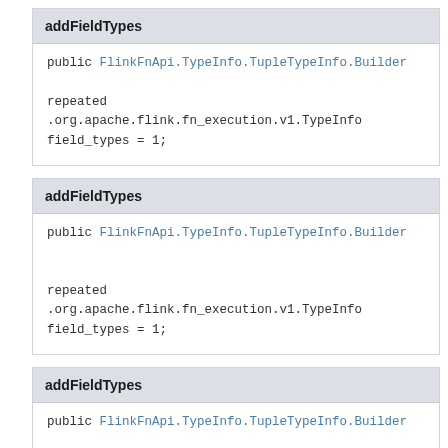addFieldTypes
public FlinkFnApi.TypeInfo.TupleTypeInfo.Builder

repeated
.org.apache.flink.fn_execution.v1.TypeInfo
field_types = 1;
addFieldTypes
public FlinkFnApi.TypeInfo.TupleTypeInfo.Builder

repeated
.org.apache.flink.fn_execution.v1.TypeInfo
field_types = 1;
addFieldTypes
public FlinkFnApi.TypeInfo.TupleTypeInfo.Builder

repeated